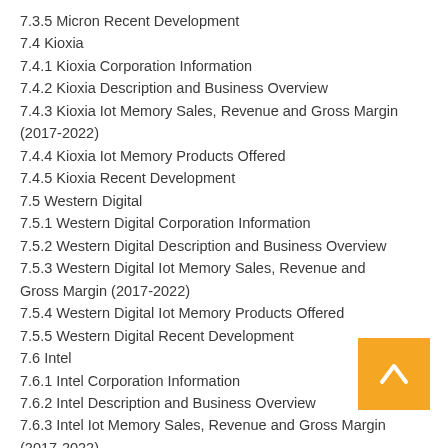7.3.5 Micron Recent Development
7.4 Kioxia
7.4.1 Kioxia Corporation Information
7.4.2 Kioxia Description and Business Overview
7.4.3 Kioxia Iot Memory Sales, Revenue and Gross Margin (2017-2022)
7.4.4 Kioxia Iot Memory Products Offered
7.4.5 Kioxia Recent Development
7.5 Western Digital
7.5.1 Western Digital Corporation Information
7.5.2 Western Digital Description and Business Overview
7.5.3 Western Digital Iot Memory Sales, Revenue and Gross Margin (2017-2022)
7.5.4 Western Digital Iot Memory Products Offered
7.5.5 Western Digital Recent Development
7.6 Intel
7.6.1 Intel Corporation Information
7.6.2 Intel Description and Business Overview
7.6.3 Intel Iot Memory Sales, Revenue and Gross Margin (2017-2022)